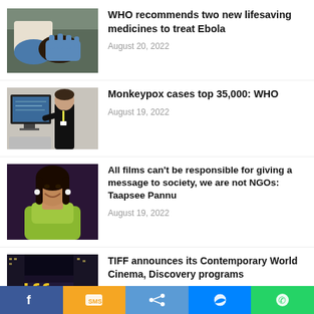[Figure (photo): Hands putting on blue medical gloves]
WHO recommends two new lifesaving medicines to treat Ebola
August 20, 2022
[Figure (photo): Doctor pointing at computer monitor]
Monkeypox cases top 35,000: WHO
August 19, 2022
[Figure (photo): Taapsee Pannu smiling at event]
All films can't be responsible for giving a message to society, we are not NGOs: Taapsee Pannu
August 19, 2022
[Figure (photo): TIFF festival signage with crowd]
TIFF announces its Contemporary World Cinema, Discovery programs
August 19, 2022